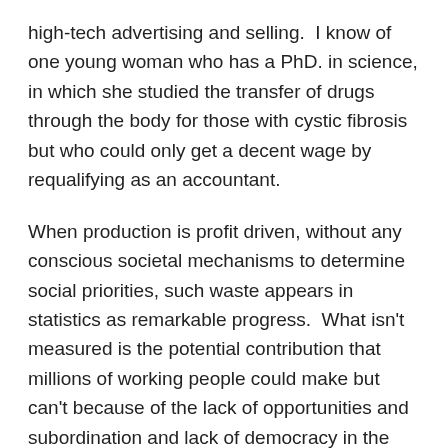high-tech advertising and selling.  I know of one young woman who has a PhD. in science, in which she studied the transfer of drugs through the body for those with cystic fibrosis but who could only get a decent wage by requalifying as an accountant.
When production is profit driven, without any conscious societal mechanisms to determine social priorities, such waste appears in statistics as remarkable progress.  What isn't measured is the potential contribution that millions of working people could make but can't because of the lack of opportunities and subordination and lack of democracy in the workplace that stifles their ambition and creative powers.
Despite all this however it has to be understood that capitalism continues to develop, and the productive power